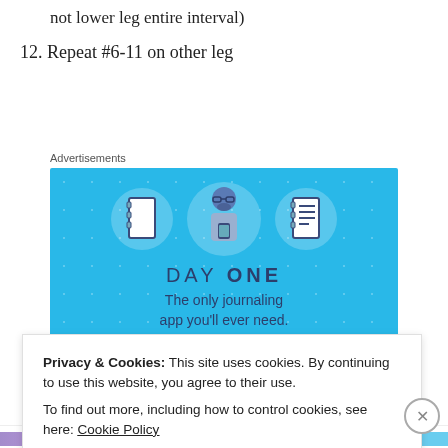not lower leg entire interval)
12. Repeat #6-11 on other leg
Advertisements
[Figure (illustration): Day One journaling app advertisement on a light blue background. Shows three circular icons with notebook illustrations flanking a cartoon figure of a person using a phone. Text reads 'DAY ONE' and 'The only journaling app you'll ever need.']
Privacy & Cookies: This site uses cookies. By continuing to use this website, you agree to their use.
To find out more, including how to control cookies, see here: Cookie Policy
Close and accept